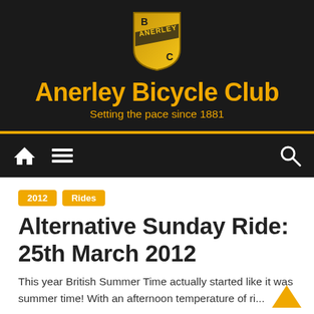[Figure (logo): Anerley Bicycle Club shield logo in gold and black with letters B, C, and ANERLEY text]
Anerley Bicycle Club
Setting the pace since 1881
[Figure (other): Navigation bar with home icon, hamburger menu icon, and search icon on dark background]
2012
Rides
Alternative Sunday Ride: 25th March 2012
This year British Summer Time actually started like it was summer time! With an afternoon temperature of ri...